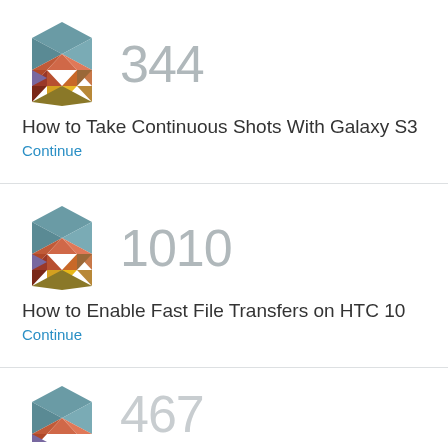[Figure (logo): Colorful geometric hexagon logo made of triangular facets in teal, orange, red, purple, yellow colors]
344
How to Take Continuous Shots With Galaxy S3
Continue
[Figure (logo): Colorful geometric hexagon logo made of triangular facets in teal, orange, red, purple, yellow colors]
1010
How to Enable Fast File Transfers on HTC 10
Continue
[Figure (logo): Colorful geometric hexagon logo made of triangular facets, partially visible at bottom]
467